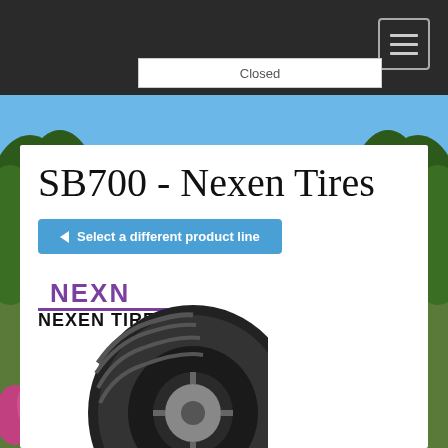Closed
SB700 - Nexen Tires
← Select a different product line
[Figure (logo): Nexen Tire logo with purple NEXN brand mark and bold NEXEN TIRE text below]
[Figure (photo): Nexen SB700 tire product photo showing tread pattern and sidewall]